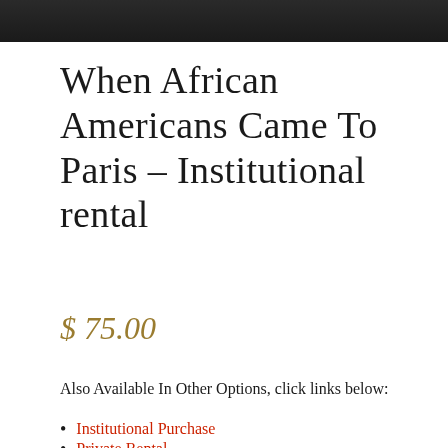[Figure (photo): Dark/black header image at top of page]
When African Americans Came To Paris – Institutional rental
$75.00
Also Available In Other Options, click links below:
Institutional Purchase
Private Rental